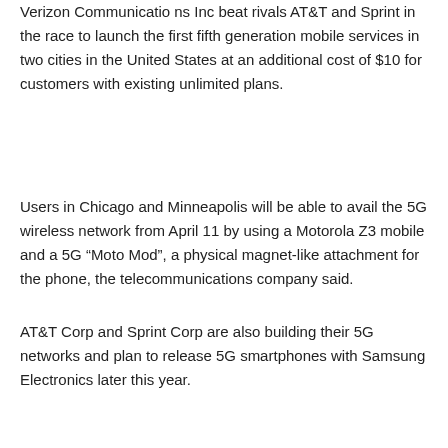Verizon Communications Inc beat rivals AT&T and Sprint in the race to launch the first fifth generation mobile services in two cities in the United States at an additional cost of $10 for customers with existing unlimited plans.
Users in Chicago and Minneapolis will be able to avail the 5G wireless network from April 11 by using a Motorola Z3 mobile and a 5G “Moto Mod”, a physical magnet-like attachment for the phone, the telecommunications company said.
AT&T Corp and Sprint Corp are also building their 5G networks and plan to release 5G smartphones with Samsung Electronics later this year.